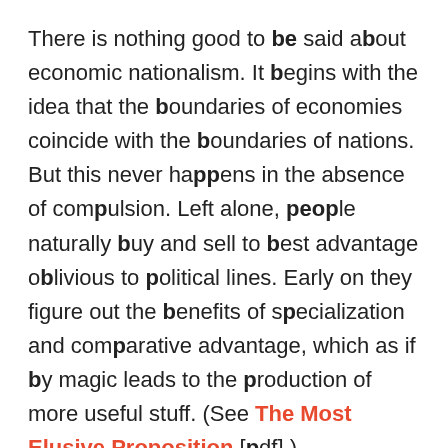There is nothing good to be said about economic nationalism. It begins with the idea that the boundaries of economies coincide with the boundaries of nations. But this never happens in the absence of compulsion. Left alone, people naturally buy and sell to best advantage oblivious to political lines. Early on they figure out the benefits of specialization and comparative advantage, which as if by magic leads to the production of more useful stuff. (See The Most Elusive Proposition [pdf].)
It is only when the ideology of nationalism — often a cover for special labor and industrial interests —